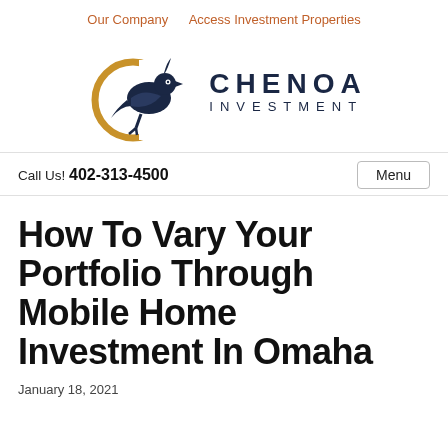Our Company   Access Investment Properties
[Figure (logo): Chenoa Investment logo: a stylized bird (quail) in dark navy blue with a golden crescent moon circle, next to the text CHENOA INVESTMENT in navy blue capital letters]
Call Us! 402-313-4500
How To Vary Your Portfolio Through Mobile Home Investment In Omaha
January 18, 2021